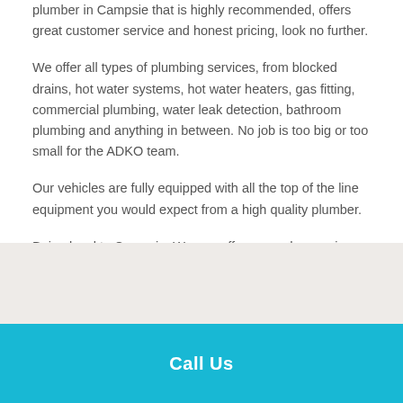plumber in Campsie that is highly recommended, offers great customer service and honest pricing, look no further.
We offer all types of plumbing services, from blocked drains, hot water systems, hot water heaters, gas fitting, commercial plumbing, water leak detection, bathroom plumbing and anything in between. No job is too big or too small for the ADKO team.
Our vehicles are fully equipped with all the top of the line equipment you would expect from a high quality plumber.
Being local to Campsie, We can offer same day service, 24 hours a day, 7 days a week.
Call Us